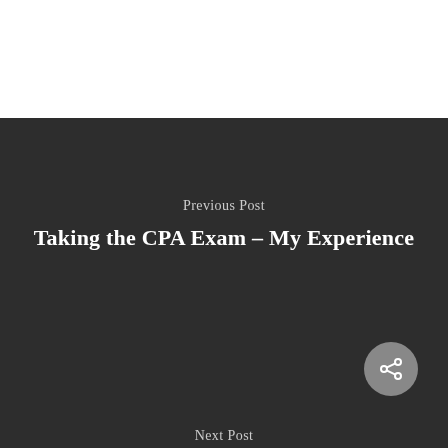Previous Post
Taking the CPA Exam – My Experience
Next Post